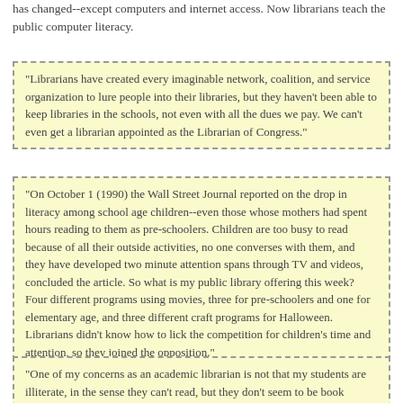has changed--except computers and internet access. Now librarians teach the public computer literacy.
"Librarians have created every imaginable network, coalition, and service organization to lure people into their libraries, but they haven't been able to keep libraries in the schools, not even with all the dues we pay. We can't even get a librarian appointed as the Librarian of Congress."
"On October 1 (1990) the Wall Street Journal reported on the drop in literacy among school age children--even those whose mothers had spent hours reading to them as pre-schoolers. Children are too busy to read because of all their outside activities, no one converses with them, and they have developed two minute attention spans through TV and videos, concluded the article. So what is my public library offering this week? Four different programs using movies, three for pre-schoolers and one for elementary age, and three different craft programs for Halloween. Librarians didn't know how to lick the competition for children's time and attention, so they joined the opposition."
"One of my concerns as an academic librarian is not that my students are illiterate, in the sense they can't read, but they don't seem to be book literate. I use our Closed Reserve material heavily for answering reference questions. For example, I pull off a book on feline medicine to answer a